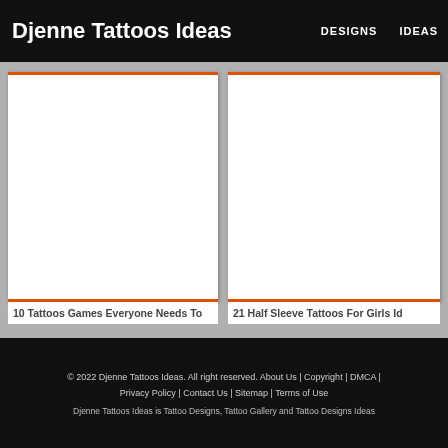Djenne Tattoos Ideas | DESIGNS | IDEAS
[Figure (other): Blank white card placeholder for tattoo image 1]
10 Tattoos Games Everyone Needs To
[Figure (other): Blank white card placeholder for tattoo image 2]
21 Half Sleeve Tattoos For Girls Id
© 2022 Djenne Tattoos Ideas. All right reserved. About Us | Copyright | DMCA | Privacy Policy | Contact Us | Sitemap | Terms of Use
Djenne Tattoos Ideas is Tattoo Designs, Tattoo Gallery and Tattoo Designs Ideas